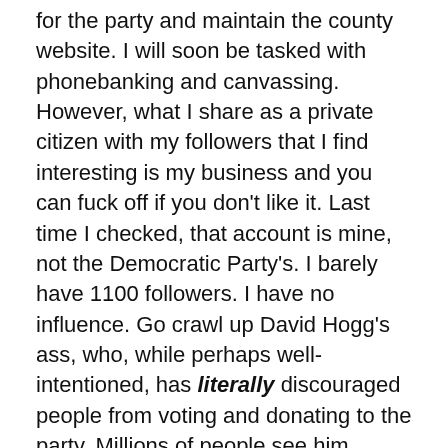for the party and maintain the county website. I will soon be tasked with phonebanking and canvassing. However, what I share as a private citizen with my followers that I find interesting is my business and you can fuck off if you don't like it. Last time I checked, that account is mine, not the Democratic Party's. I barely have 1100 followers. I have no influence. Go crawl up David Hogg's ass, who, while perhaps well-intentioned, has literally discouraged people from voting and donating to the party. Millions of people see him online daily. He's a spokesperson for the young whether he knows it or not and he has to get smarter quickly.
Let's just keep the conversation and the reality free and flowing. Telling people to be quiet will not make more Democratic voters, nor will sharing uncomfortable truths make less. It will just make people think and consider, and